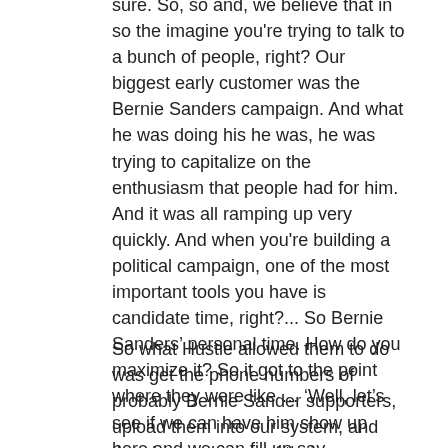sure. So, so and, we believe that in so the imagine you're trying to talk to a bunch of people, right? Our biggest early customer was the Bernie Sanders campaign. And what he was doing his he was, he was trying to capitalize on the enthusiasm that people had for him. And it was all ramping up very quickly. And when you're building a political campaign, one of the most important tools you have is candidate time, right?... So Bernie Sanders' personal time. How do you maximize it? So it got to the point where they were like … 'Well, let's see if we can have him show up here and we can fill up say … football stadium with people. Well to do that you need to message a bunch of people and let them know that he's going to be at that football stadium.
So what Hustle allowed them to do was get the phone numbers of probably Bernie Sander supporters, upload them into our system, and then have a bunch of their volunteers very quickly … and in a personalized manner